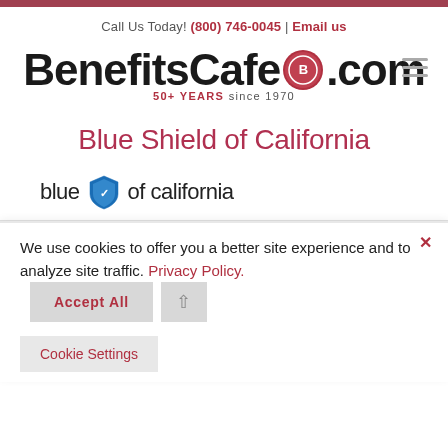Call Us Today! (800) 746-0045 | Email us
[Figure (logo): BenefitsCafe.com logo with red circular badge, tagline '50+ YEARS since 1970']
Blue Shield of California
[Figure (logo): Blue Shield of California logo with blue shield icon, text 'blue of california']
We use cookies to offer you a better site experience and to analyze site traffic. Privacy Policy.
Accept All
Cookie Settings